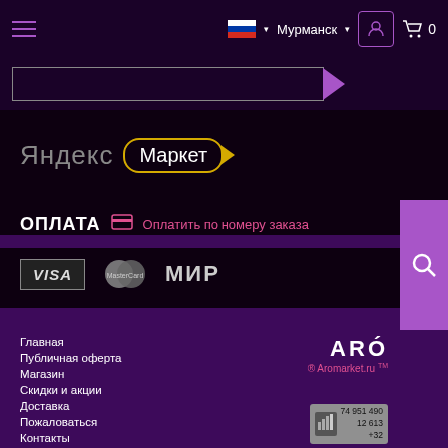Мурманск  0
[Figure (screenshot): Search bar with purple arrow indicator]
[Figure (logo): Яндекс Маркет logo with yellow outlined badge]
ОПЛАТА  Оплатить по номеру заказа
[Figure (logo): Payment logos: VISA, MasterCard, МИР]
Главная
Публичная оферта
Магазин
Скидки и акции
Доставка
Пожаловаться
Контакты
[Figure (logo): ARO Aromarket.ru TM logo]
[Figure (other): Hotlog counter badge: 74 951 490, 12 613, +32]